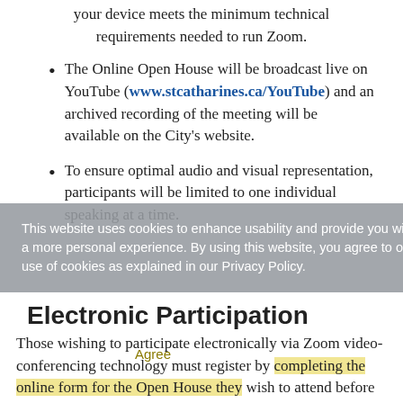your device meets the minimum technical requirements needed to run Zoom.
The Online Open House will be broadcast live on YouTube (www.stcatharines.ca/YouTube) and an archived recording of the meeting will be available on the City's website.
To ensure optimal audio and visual representation, participants will be limited to one individual speaking at a time.
This website uses cookies to enhance usability and provide you with a more personal experience. By using this website, you agree to our use of cookies as explained in our Privacy Policy.
Electronic Participation
Those wishing to participate electronically via Zoom video-conferencing technology must register by completing the online form for the Open House they wish to attend before the date specified in the notices below.